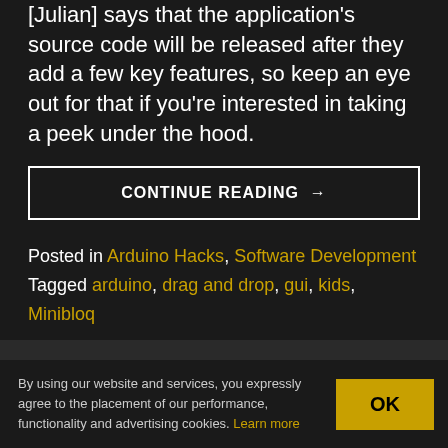[Julian] says that the application's source code will be released after they add a few key features, so keep an eye out for that if you're interested in taking a peek under the hood.
CONTINUE READING →
Posted in Arduino Hacks, Software Development
Tagged arduino, drag and drop, gui, kids, Minibloq
← OLDER POSTS
By using our website and services, you expressly agree to the placement of our performance, functionality and advertising cookies. Learn more